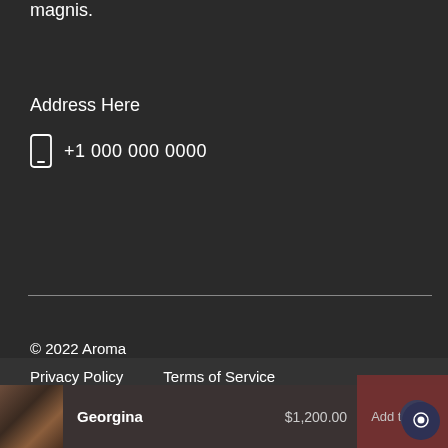magnis.
Address Here
+1 000 000 0000
© 2022 Aroma
Privacy Policy    Terms of Service
Georgina    $1,200.00    Add to cart